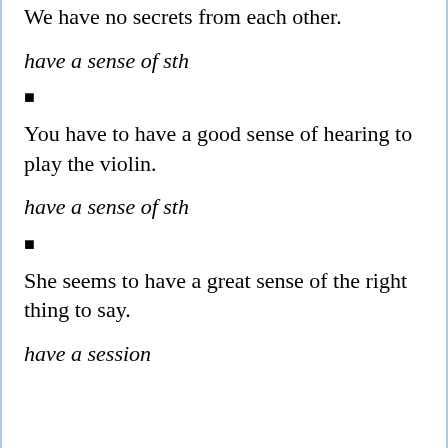We have no secrets from each other.
have a sense of sth
■
You have to have a good sense of hearing to play the violin.
have a sense of sth
■
She seems to have a great sense of the right thing to say.
have a session